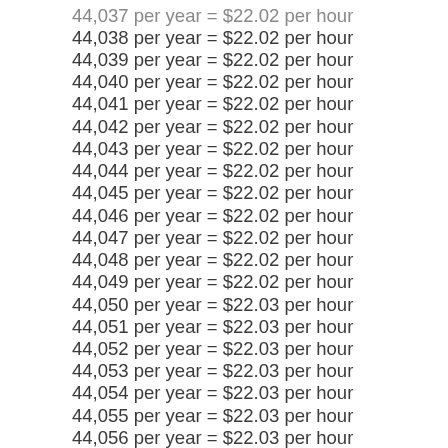44,037 per year = $22.02 per hour
44,038 per year = $22.02 per hour
44,039 per year = $22.02 per hour
44,040 per year = $22.02 per hour
44,041 per year = $22.02 per hour
44,042 per year = $22.02 per hour
44,043 per year = $22.02 per hour
44,044 per year = $22.02 per hour
44,045 per year = $22.02 per hour
44,046 per year = $22.02 per hour
44,047 per year = $22.02 per hour
44,048 per year = $22.02 per hour
44,049 per year = $22.02 per hour
44,050 per year = $22.03 per hour
44,051 per year = $22.03 per hour
44,052 per year = $22.03 per hour
44,053 per year = $22.03 per hour
44,054 per year = $22.03 per hour
44,055 per year = $22.03 per hour
44,056 per year = $22.03 per hour
44,057 per year = $22.03 per hour
44,058 per year = $22.03 per hour
44,059 per year = $22.03 per hour